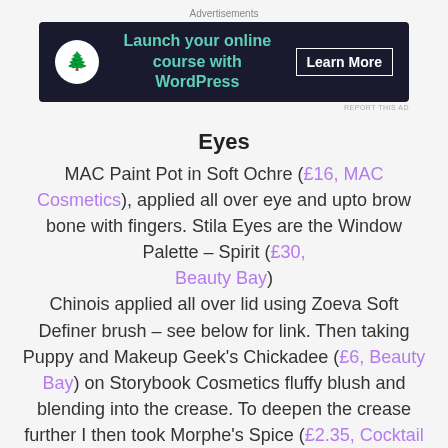[Figure (other): Advertisement banner: dark navy background with tree icon, green text 'Launch your online course with WordPress', white 'Learn More' button]
Eyes
MAC Paint Pot in Soft Ochre (£16, MAC Cosmetics), applied all over eye and upto brow bone with fingers. Stila Eyes are the Window Palette – Spirit (£30, Beauty Bay) Chinois applied all over lid using Zoeva Soft Definer brush – see below for link. Then taking Puppy and Makeup Geek's Chickadee (£6, Beauty Bay) on Storybook Cosmetics fluffy blush and blending into the crease. To deepen the crease further I then took Morphe's Spice (£2.35, Cocktail Cosmetics) and Makeup Geek's Tiki Hut (£6, Beauty Bay) on the Zoeva soft definer.